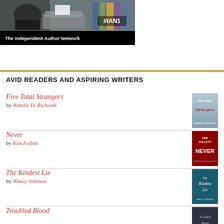[Figure (photo): Banner for The Independent Author Network with hashtag #IAN1 overlaid on a photo of a person at a typewriter. Black background banner at bottom reads 'The Independent Author Network']
AVID READERS AND ASPIRING WRITERS
Five Total Strangers by Natalie D. Richards
Never by Ken Follett
The Kindest Lie by Nancy Johnson
Troubled Blood